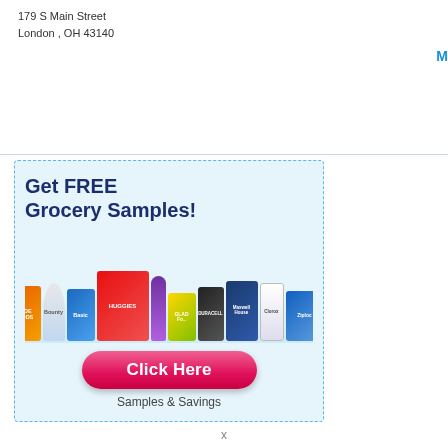179 S Main Street
London , OH 43140
M
[Figure (infographic): Advertisement for free grocery samples featuring products like Tide, Huggies, Glad, Duracell, Maxwell House, Ziploc, Clorox, Bounty. Light blue background with dashed border. Bold headline 'Get FREE Grocery Samples!', product images, a pink 'Click Here' button, and text 'Samples & Savings'.]
x